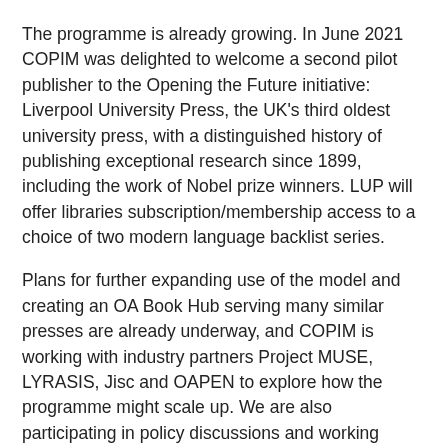The programme is already growing. In June 2021 COPIM was delighted to welcome a second pilot publisher to the Opening the Future initiative: Liverpool University Press, the UK's third oldest university press, with a distinguished history of publishing exceptional research since 1899, including the work of Nobel prize winners. LUP will offer libraries subscription/membership access to a choice of two modern language backlist series.
Plans for further expanding use of the model and creating an OA Book Hub serving many similar presses are already underway, and COPIM is working with industry partners Project MUSE, LYRASIS, Jisc and OAPEN to explore how the programme might scale up. We are also participating in policy discussions and working groups with the ultimate aim being to facilitate a viable route for small and medium sized academic presses with leverageable backlists to flip their frontlists to open.
If enough libraries and publishers participate, with clusters forming around disciplines, then both the research and teaching requirements globally can be well served by